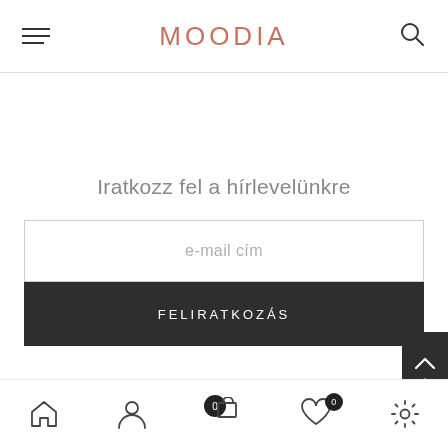MOODIA
Iratkozz fel a hírlevelünkre
e-mail cím
FELIRATKOZÁS
[Figure (screenshot): Scroll to top button with chevron up icon and three dots menu, dark background]
[Figure (screenshot): Bottom navigation bar with home, user, cart (0), wishlist (0), and settings icons]